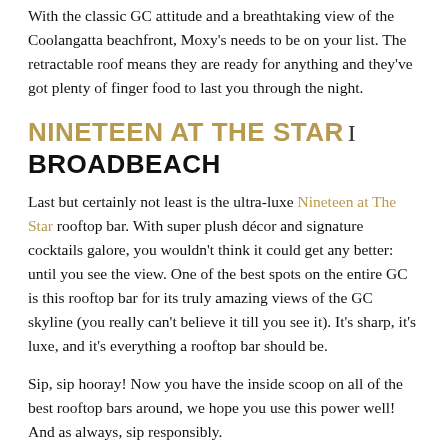With the classic GC attitude and a breathtaking view of the Coolangatta beachfront, Moxy's needs to be on your list. The retractable roof means they are ready for anything and they've got plenty of finger food to last you through the night.
NINETEEN AT THE STAR I BROADBEACH
Last but certainly not least is the ultra-luxe Nineteen at The Star rooftop bar. With super plush décor and signature cocktails galore, you wouldn't think it could get any better: until you see the view. One of the best spots on the entire GC is this rooftop bar for its truly amazing views of the GC skyline (you really can't believe it till you see it). It's sharp, it's luxe, and it's everything a rooftop bar should be.
Sip, sip hooray! Now you have the inside scoop on all of the best rooftop bars around, we hope you use this power well! And as always, sip responsibly.